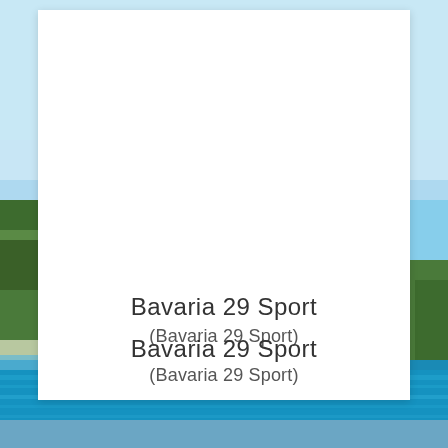[Figure (photo): Background scenic photograph of a Mediterranean coastal scene with turquoise water, green trees/vegetation on rocky shores, and a clear blue sky visible on both sides of a white card overlay.]
Bavaria 29 Sport
(Bavaria 29 Sport)